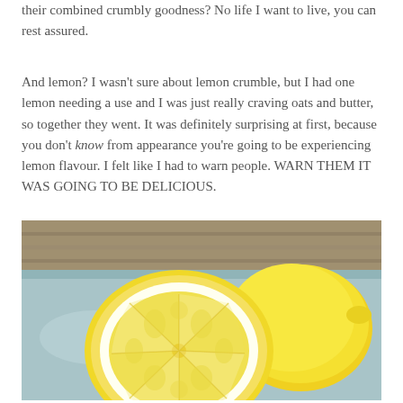their combined crumbly goodness? No life I want to live, you can rest assured.
And lemon? I wasn't sure about lemon crumble, but I had one lemon needing a use and I was just really craving oats and butter, so together they went. It was definitely surprising at first, because you don't know from appearance you're going to be experiencing lemon flavour. I felt like I had to warn people. WARN THEM IT WAS GOING TO BE DELICIOUS.
[Figure (photo): Close-up photo of a halved lemon showing the cross-section with visible segments, placed on a light blue cloth, with a wicker basket blurred in the background.]